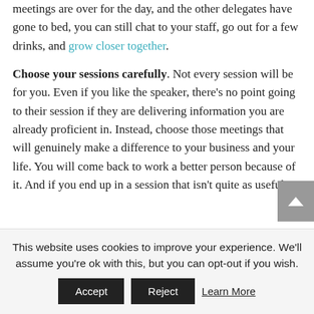meetings are over for the day, and the other delegates have gone to bed, you can still chat to your staff, go out for a few drinks, and grow closer together.
Choose your sessions carefully. Not every session will be for you. Even if you like the speaker, there's no point going to their session if they are delivering information you are already proficient in. Instead, choose those meetings that will genuinely make a difference to your business and your life. You will come back to work a better person because of it. And if you end up in a session that isn't quite as useful as
This website uses cookies to improve your experience. We'll assume you're ok with this, but you can opt-out if you wish.
Accept   Reject   Learn More